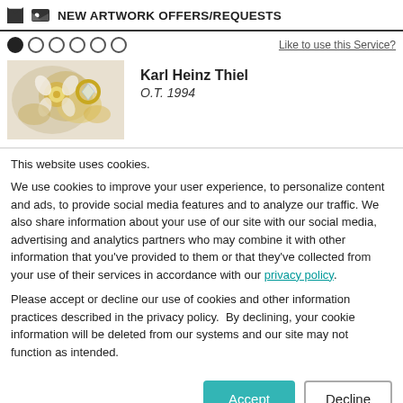NEW ARTWORK OFFERS/REQUESTS
● ○ ○ ○ ○ ○   Like to use this Service?
[Figure (photo): Thumbnail image of an artwork by Karl Heinz Thiel, 1994 — appears to show floral/jewelry elements in gold and white tones]
Karl Heinz Thiel
O.T. 1994
This website uses cookies.
We use cookies to improve your user experience, to personalize content and ads, to provide social media features and to analyze our traffic. We also share information about your use of our site with our social media, advertising and analytics partners who may combine it with other information that you've provided to them or that they've collected from your use of their services in accordance with our privacy policy.
Please accept or decline our use of cookies and other information practices described in the privacy policy.  By declining, your cookie information will be deleted from our systems and our site may not function as intended.